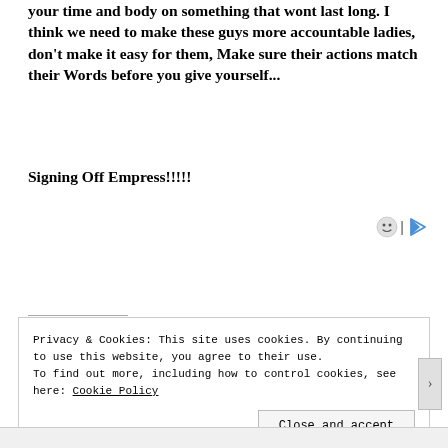your time and body on something that wont last long. I think we need to make these guys more accountable ladies, don't make it easy for them, Make sure their actions match their Words before you give yourself...
Signing Off Empress!!!!!
Privacy & Cookies: This site uses cookies. By continuing to use this website, you agree to their use.
To find out more, including how to control cookies, see here: Cookie Policy
Close and accept